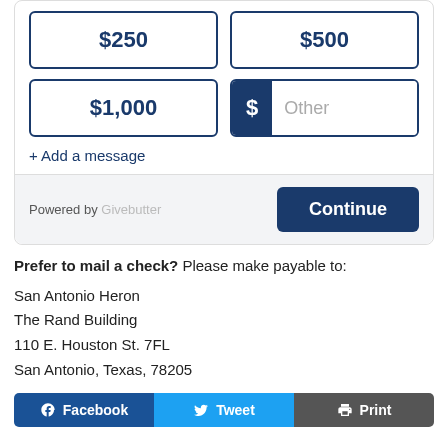[Figure (screenshot): Donation widget with amount buttons $250, $500, $1,000, and Other with dollar sign prefix. Below is an Add a message link and a footer with Powered by Givebutter text and a Continue button.]
Prefer to mail a check? Please make payable to:
San Antonio Heron
The Rand Building
110 E. Houston St. 7FL
San Antonio, Texas, 78205
[Figure (screenshot): Social sharing bar with Facebook, Tweet, and Print buttons.]